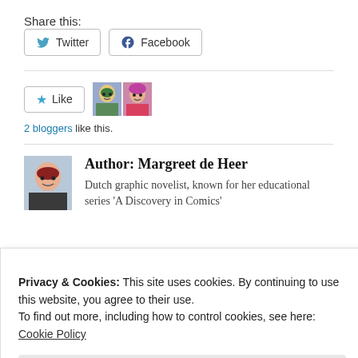Share this:
Twitter
Facebook
Like
2 bloggers like this.
Author: Margreet de Heer
Dutch graphic novelist, known for her educational series 'A Discovery in Comics'
Privacy & Cookies: This site uses cookies. By continuing to use this website, you agree to their use.
To find out more, including how to control cookies, see here:
Cookie Policy
Close and accept